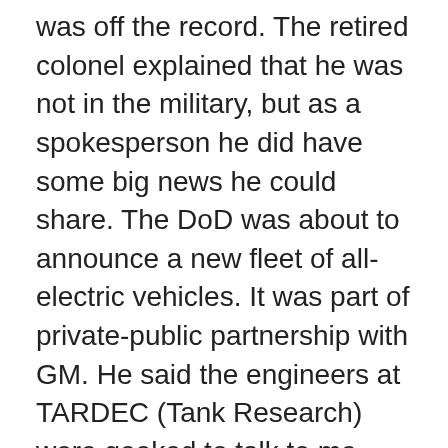was off the record. The retired colonel explained that he was not in the military, but as a spokesperson he did have some big news he could share. The DoD was about to announce a new fleet of all-electric vehicles. It was part of private-public partnership with GM. He said the engineers at TARDEC (Tank Research) were geeked to talk to me about what they?d been building. While it?s good to hear that DoD is switching over to electric vehicles, I explained that I was only interested in water-powered cars and hydroxy fuels. In his friendly way, he told me to write up all my questions and he?d submit them to his supervisor for approval to speak on the record. I submitted my questions to him.
And I never heard from him again.